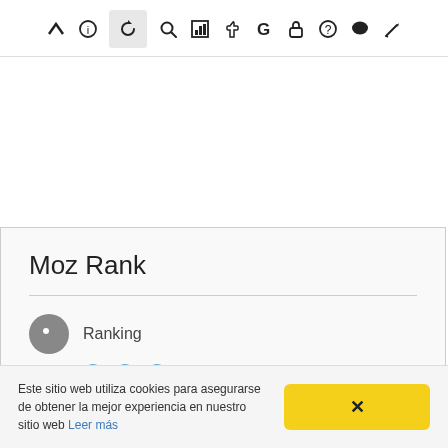[Figure (screenshot): Browser extension or web app toolbar with icons: back/up arrow, info (i), refresh/reload (circle arrow), search (magnifier), bar chart, thumbs up, G (Google), lock, question mark, comment bubble, pencil. Refresh icon has a highlighted/active background.]
Moz Rank
Ranking
[Figure (infographic): A progress/slider bar showing value 24 out of 100, with an orange outlined pill label showing '24' at approximately 24% of the bar width. Three blue radio-button style circle icons appear above the bar.]
Este sitio web utiliza cookies para asegurarse de obtener la mejor experiencia en nuestro sitio web Leer más